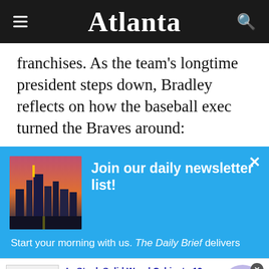Atlanta
franchises. As the team's longtime president steps down, Bradley reflects on how the baseball exec turned the Braves around:
[Figure (screenshot): Newsletter signup popup with blue background showing Atlanta skyline photo and text 'Join our daily newsletter list!' with subtext 'Start your morning with us. The Daily Brief delivers']
[Figure (screenshot): Advertisement banner for 'In-Stock Solid Wood Cabinets-12 Styles!' with visit URL cliftondesignstudio.com and arrow button]